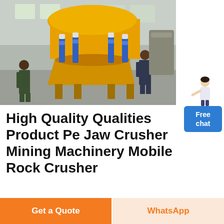[Figure (photo): Industrial photo of a large yellow cone/spring crusher mining machine in a factory/warehouse setting, with two workers in blue coveralls standing near it. The machine has blue hydraulic cylinders and yellow metallic body.]
High Quality Qualities Product Pe Jaw Crusher Mining Machinery Mobile Rock Crusher
Click to chat
Get a Quote
WhatsApp